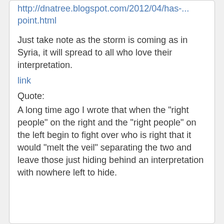http://dnatree.blogspot.com/2012/04/has-...point.html
Just take note as the storm is coming as in Syria, it will spread to all who love their interpretation.
link
Quote:
A long time ago I wrote that when the "right people" on the right and the "right people" on the left begin to fight over who is right that it would "melt the veil" separating the two and leave those just hiding behind an interpretation with nowhere left to hide.